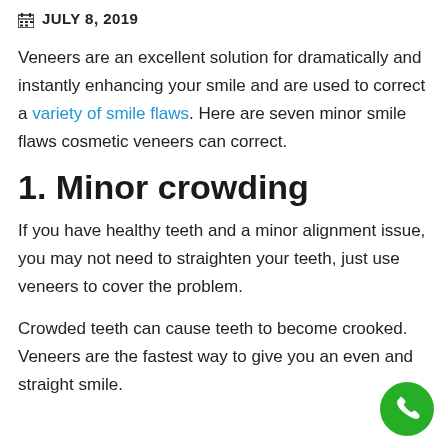JULY 8, 2019
Veneers are an excellent solution for dramatically and instantly enhancing your smile and are used to correct a variety of smile flaws. Here are seven minor smile flaws cosmetic veneers can correct.
1. Minor crowding
If you have healthy teeth and a minor alignment issue, you may not need to straighten your teeth, just use veneers to cover the problem.
Crowded teeth can cause teeth to become crooked. Veneers are the fastest way to give you an even and straight smile.